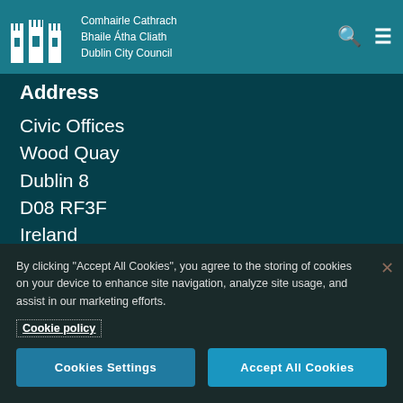Comhairle Cathrach Bhaile Átha Cliath Dublin City Council
Address
Civic Offices
Wood Quay
Dublin 8
D08 RF3F
Ireland
Telephone Number
01 222 2222
Email
By clicking "Accept All Cookies", you agree to the storing of cookies on your device to enhance site navigation, analyze site usage, and assist in our marketing efforts.
Cookie policy
Cookies Settings
Accept All Cookies